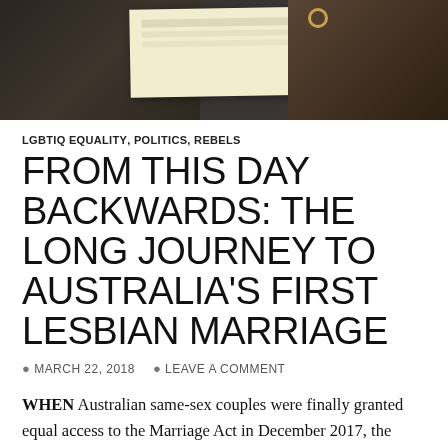[Figure (photo): Photo of hands holding a document/certificate, dark background]
LGBTIQ EQUALITY, POLITICS, REBELS
FROM THIS DAY BACKWARDS: THE LONG JOURNEY TO AUSTRALIA'S FIRST LESBIAN MARRIAGE
MARCH 22, 2018   LEAVE A COMMENT
WHEN Australian same-sex couples were finally granted equal access to the Marriage Act in December 2017, the widespread expression of relief was tempered by a growing awareness of a legal minefield.
Brisbane couple Elai…